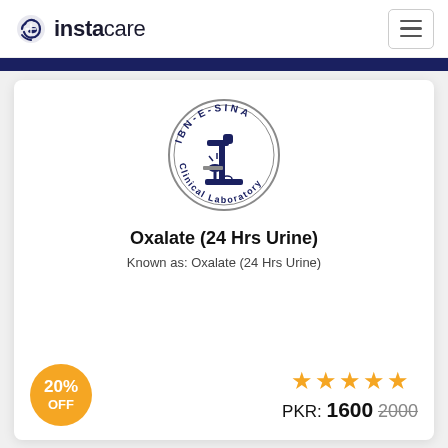instacare
[Figure (logo): Ibn-E-Sina Clinical Laboratory circular logo with microscope illustration]
Oxalate (24 Hrs Urine)
Known as: Oxalate (24 Hrs Urine)
20% OFF
PKR: 1600 2000